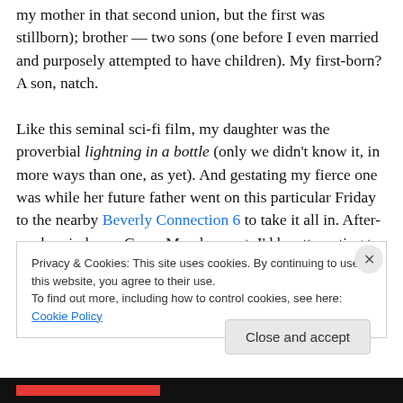my mother in that second union, but the first was stillborn); brother — two sons (one before I even married and purposely attempted to have children). My first-born? A son, natch.

Like this seminal sci-fi film, my daughter was the proverbial lightning in a bottle (only we didn't know it, in more ways than one, as yet). And gestating my fierce one was while her future father went on this particular Friday to the nearby Beverly Connection 6 to take it all in. After-work. mind you. Come Monday next. I'd be attempting to
Privacy & Cookies: This site uses cookies. By continuing to use this website, you agree to their use.
To find out more, including how to control cookies, see here: Cookie Policy
Close and accept